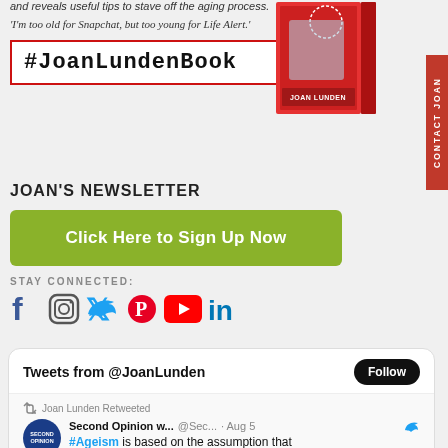and reveals useful tips to stave off the aging process.
'I'm too old for Snapchat, but too young for Life Alert.'
#JoanLundenBook
[Figure (photo): Book cover image for Joan Lunden's book about aging conversations]
CONTACT JOAN
JOAN'S NEWSLETTER
Click Here to Sign Up Now
STAY CONNECTED:
[Figure (infographic): Social media icons: Facebook, Instagram, Twitter, Pinterest, YouTube, LinkedIn]
Tweets from @JoanLunden
Follow
Joan Lunden Retweeted
Second Opinion w... @Sec... · Aug 5
#Ageism is based on the assumption that